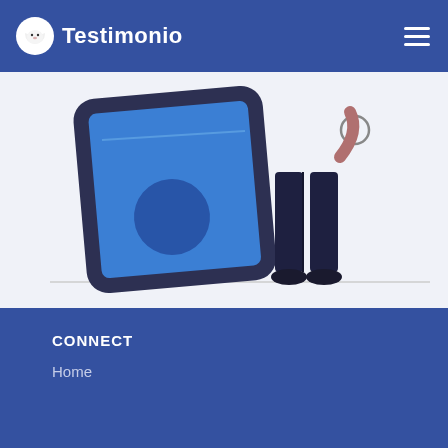Testimonio
[Figure (illustration): Illustration of a large smartphone with a blue screen and a dark circular element, next to a person's legs standing beside it, on a light gray-blue background with a horizontal ground line.]
CONNECT
Home